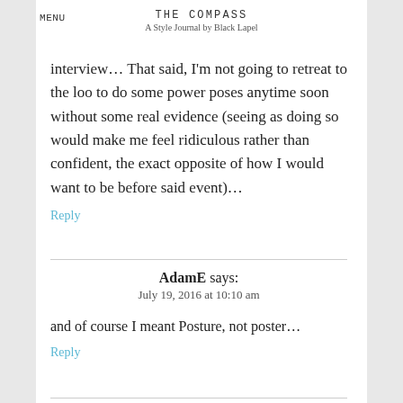MENU
THE COMPASS
A Style Journal by Black Lapel
interview… That said, I'm not going to retreat to the loo to do some power poses anytime soon without some real evidence (seeing as doing so would make me feel ridiculous rather than confident, the exact opposite of how I would want to be before said event)…
Reply
AdamE says:
July 19, 2016 at 10:10 am
and of course I meant Posture, not poster…
Reply